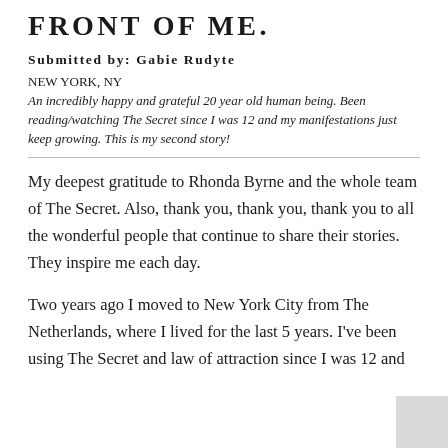FRONT OF ME.
Submitted by: Gabie Rudyte
NEW YORK, NY
An incredibly happy and grateful 20 year old human being. Been reading/watching The Secret since I was 12 and my manifestations just keep growing. This is my second story!
My deepest gratitude to Rhonda Byrne and the whole team of The Secret. Also, thank you, thank you, thank you to all the wonderful people that continue to share their stories. They inspire me each day.
Two years ago I moved to New York City from The Netherlands, where I lived for the last 5 years. I've been using The Secret and law of attraction since I was 12 and